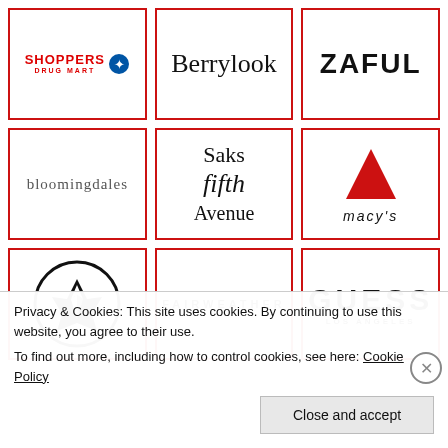[Figure (logo): Shoppers Drug Mart logo - red text with blue icon]
[Figure (logo): Berrylook logo in cursive script]
[Figure (logo): ZAFUL logo in bold sans-serif]
[Figure (logo): bloomingdales logo in light serif]
[Figure (logo): Saks Fifth Avenue logo in cursive script]
[Figure (logo): Macy's logo with red star]
[Figure (logo): Volcom logo - circle with stone icon]
[Figure (logo): FAIRWEATHER logo in spaced caps]
[Figure (logo): GUESS LOS ANGELES logo]
Privacy & Cookies: This site uses cookies. By continuing to use this website, you agree to their use.
To find out more, including how to control cookies, see here: Cookie Policy
Close and accept